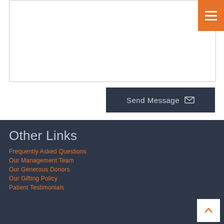[Figure (screenshot): White text input box area with orange hamburger menu button in top right corner]
Send Message
Other Links
Frequently Asked Questions
Our Management Team
Our Generous Donors
Our Gifting Policy
Patient Testimonials